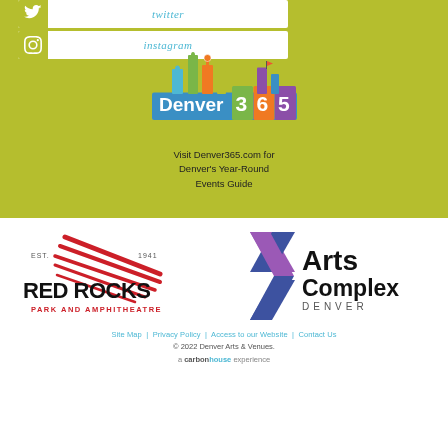[Figure (screenshot): Twitter social media button row with teal italic 'twitter' text on white background, within olive/yellow-green background]
[Figure (screenshot): Instagram social media button row with teal italic 'instagram' text on white background, within olive/yellow-green background]
[Figure (logo): Denver 365 logo - colorful building skyline graphic with '365' text on blue banner]
Visit Denver365.com for Denver's Year-Round Events Guide
[Figure (logo): Red Rocks Park and Amphitheatre logo - red diagonal speed lines with EST. 1941, bold text RED ROCKS, red text PARK AND AMPHITHEATRE]
[Figure (logo): Arts Complex Denver logo - purple and blue angular X shape with bold black Arts Complex text and DENVER below]
Site Map | Privacy Policy | Access to our Website | Contact Us
© 2022 Denver Arts & Venues.
a carbonhouse experience